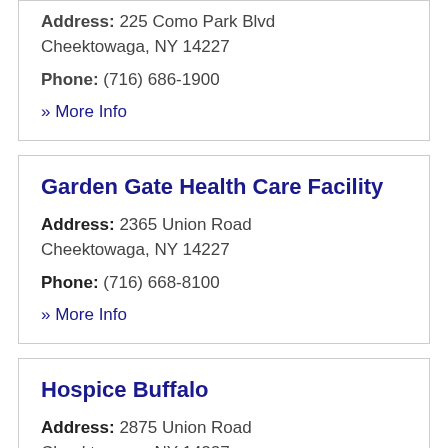Address: 225 Como Park Blvd Cheektowaga, NY 14227
Phone: (716) 686-1900
» More Info
Garden Gate Health Care Facility
Address: 2365 Union Road Cheektowaga, NY 14227
Phone: (716) 668-8100
» More Info
Hospice Buffalo
Address: 2875 Union Road Cheektowaga, NY 14227